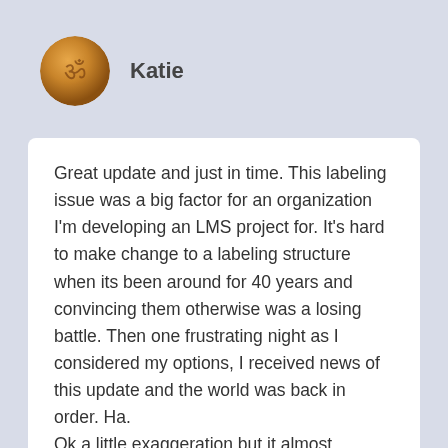[Figure (illustration): Circular avatar image showing a golden/amber colored sphere or coin with an Om symbol engraved on it]
Katie
Great update and just in time. This labeling issue was a big factor for an organization I'm developing an LMS project for. It's hard to make change to a labeling structure when its been around for 40 years and convincing them otherwise was a losing battle. Then one frustrating night as I considered my options, I received news of this update and the world was back in order. Ha.
Ok a little exaggeration but it almost became a deal breaker.